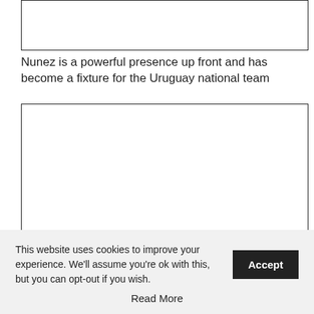[Figure (photo): Partial image box at top of page, mostly empty/white]
Nunez is a powerful presence up front and has become a fixture for the Uruguay national team
[Figure (photo): Large image box, mostly empty/white, spanning center of page]
This website uses cookies to improve your experience. We'll assume you're ok with this, but you can opt-out if you wish. Accept Read More